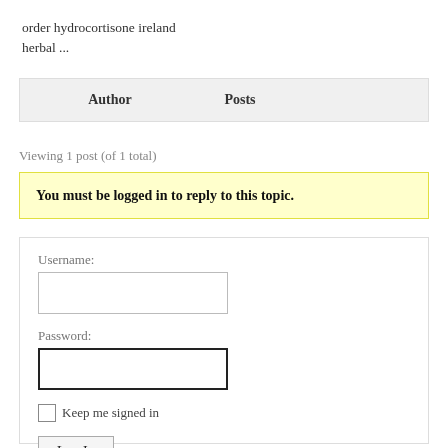order hydrocortisone ireland herbal ...
| Author | Posts |
| --- | --- |
Viewing 1 post (of 1 total)
You must be logged in to reply to this topic.
Username:
Password:
Keep me signed in
Log In